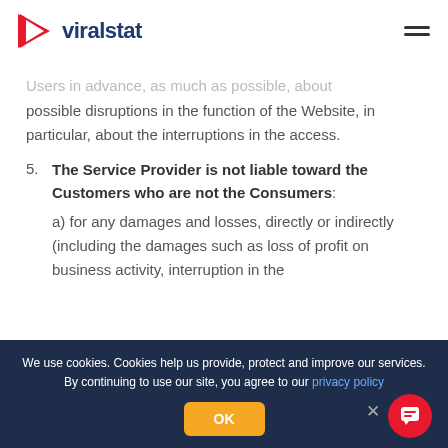[Figure (logo): Viralstat logo with red play button icon and dark blue text]
Users in advance, as much as possible, about possible disruptions in the function of the Website, in particular, about the interruptions in the access.
5. The Service Provider is not liable toward the Customers who are not the Consumers: a) for any damages and losses, directly or indirectly (including the damages such as loss of profit on business activity, interruption in the
We use cookies. Cookies help us provide, protect and improve our services. By continuing to use our site, you agree to our privacy policy
OK